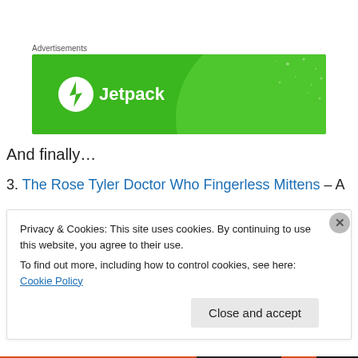Advertisements
[Figure (other): Jetpack advertisement banner — green background with large light green circle, white Jetpack logo (lightning bolt in circle) and text 'Jetpack']
And finally…
3. The Rose Tyler Doctor Who Fingerless Mittens – A
Privacy & Cookies: This site uses cookies. By continuing to use this website, you agree to their use.
To find out more, including how to control cookies, see here: Cookie Policy
Close and accept